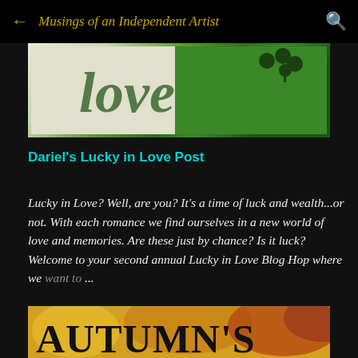Musings of an Independent Artist
[Figure (photo): Close-up photo of green decorative 'Love' lettering with shamrock/clover decorations on a light background]
Dariel's Lucky in Love Post
Lucky in Love? Well, are you? It's a time of luck and wealth...or not. With each romance we find ourselves in a new world of love and memories. Are these just by chance? Is it luck? Welcome to your second annual Lucky in Love Blog Hop where we want to ...
[Figure (photo): Book cover showing 'AUTUMN'S' text in large black letters over a warm autumn foliage background with orange and yellow trees]